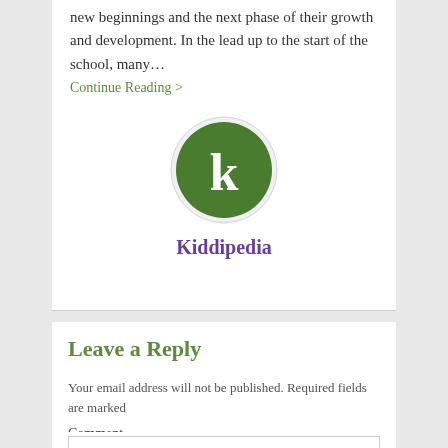new beginnings and the next phase of their growth and development. In the lead up to the start of the school, many…
Continue Reading >
[Figure (logo): Kiddipedia circular logo with white letter k on green background]
Kiddipedia
Leave a Reply
Your email address will not be published. Required fields are marked
Comment